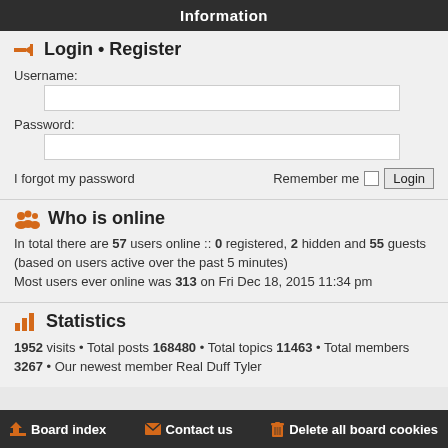Information
Login • Register
Username:
Password:
I forgot my password    Remember me   Login
Who is online
In total there are 57 users online :: 0 registered, 2 hidden and 55 guests (based on users active over the past 5 minutes)
Most users ever online was 313 on Fri Dec 18, 2015 11:34 pm
Statistics
1952 visits • Total posts 168480 • Total topics 11463 • Total members 3267 • Our newest member Real Duff Tyler
Board index   Contact us   Delete all board cookies